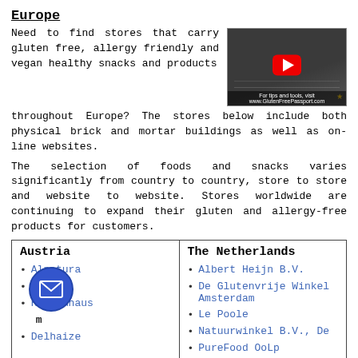Europe
Need to find stores that carry gluten free, allergy friendly and vegan healthy snacks and products throughout Europe? The stores below include both physical brick and mortar buildings as well as on-line websites.
[Figure (screenshot): YouTube video thumbnail showing a restaurant/dining room scene with tables. Red play button visible. Caption reads: For tips and tools, visit www.GlutenFreePassport.com with a star icon.]
The selection of foods and snacks varies significantly from country to country, store to store and website to website. Stores worldwide are continuing to expand their gluten and allergy-free products for customers.
| Austria | The Netherlands |
| --- | --- |
| Alnatura | Albert Heijn B.V. |
| DM | De Glutenvrije Winkel Amsterdam |
| Reformhaus | Le Poole |
| Delhaize (partially visible) | Natuurwinkel B.V., De |
|  | PureFood OoLp |